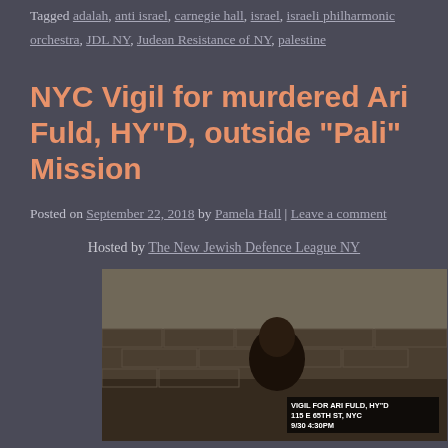Tagged adalah, anti israel, carnegie hall, israel, israeli philharmonic orchestra, JDL NY, Judean Resistance of NY, palestine
NYC Vigil for murdered Ari Fuld, HY"D, outside “Pali” Mission
Posted on September 22, 2018 by Pamela Hall | Leave a comment
Hosted by The New Jewish Defence League NY
[Figure (photo): Thumbnail image of a man in front of the Western Wall with a vigil event overlay text reading: VIGIL FOR ARI FULD, HY"D, 115 E 65TH ST, NYC, 9/30, 4:30PM]